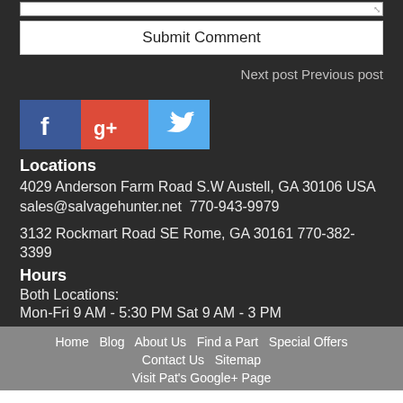[textarea / comment input field]
Submit Comment
Next post Previous post
[Figure (other): Social media icons: Facebook (blue), Google+ (red), Twitter (light blue)]
Locations
4029 Anderson Farm Road S.W Austell, GA 30106 USA
sales@salvagehunter.net  770-943-9979
3132 Rockmart Road SE Rome, GA 30161 770-382-3399
Hours
Both Locations:
Mon-Fri 9 AM - 5:30 PM Sat 9 AM - 3 PM
Home  Blog  About Us  Find a Part  Special Offers  Contact Us  Sitemap  Visit Pat's Google+ Page